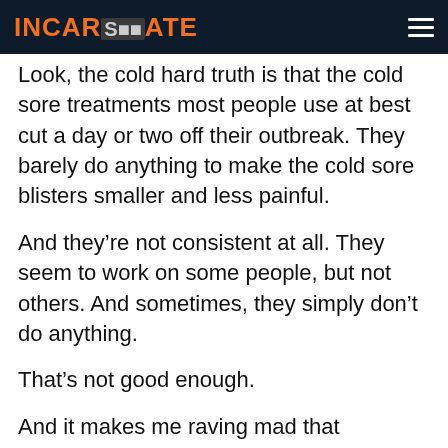INCARSERDATE
Look, the cold hard truth is that the cold sore treatments most people use at best cut a day or two off their outbreak. They barely do anything to make the cold sore blisters smaller and less painful.
And they’re not consistent at all. They seem to work on some people, but not others. And sometimes, they simply don’t do anything.
That’s not good enough.
And it makes me raving mad that companies (pharmaceutical and otherwise) keep selling us